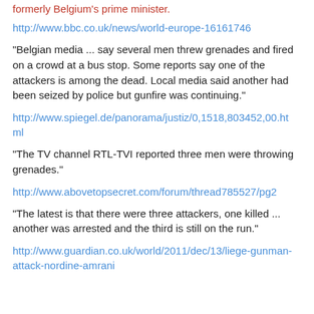formerly Belgium's prime minister.
http://www.bbc.co.uk/news/world-europe-16161746
"Belgian media ... say several men threw grenades and fired on a crowd at a bus stop. Some reports say one of the attackers is among the dead. Local media said another had been seized by police but gunfire was continuing."
http://www.spiegel.de/panorama/justiz/0,1518,803452,00.html
"The TV channel RTL-TVI reported three men were throwing grenades."
http://www.abovetopsecret.com/forum/thread785527/pg2
"The latest is that there were three attackers, one killed ... another was arrested and the third is still on the run."
http://www.guardian.co.uk/world/2011/dec/13/liege-gunman-attack-nordine-amrani